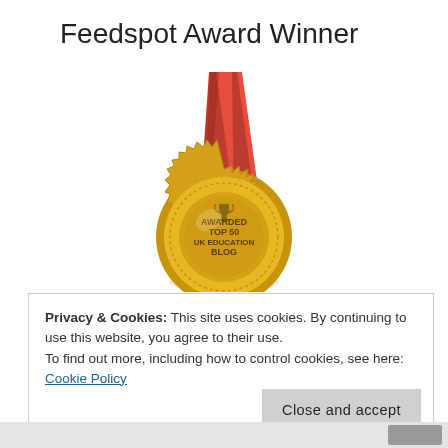Feedspot Award Winner
[Figure (illustration): Gold medal with red ribbon awarded for Top 50 UK Education Blog by Feedspot]
Privacy & Cookies: This site uses cookies. By continuing to use this website, you agree to their use.
To find out more, including how to control cookies, see here: Cookie Policy
Close and accept